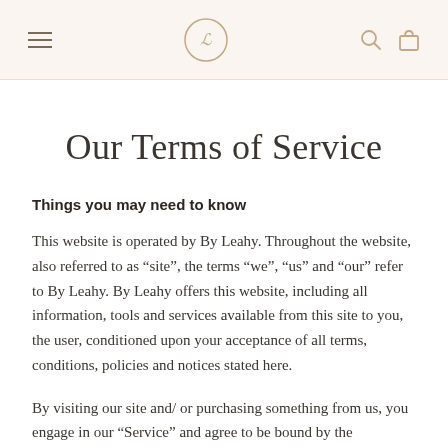By Leahy navigation header with menu, logo, search, and bag icons
Our Terms of Service
Things you may need to know
This website is operated by By Leahy. Throughout the website, also referred to as “site”, the terms “we”, “us” and “our” refer to By Leahy. By Leahy offers this website, including all information, tools and services available from this site to you, the user, conditioned upon your acceptance of all terms, conditions, policies and notices stated here.
By visiting our site and/ or purchasing something from us, you engage in our “Service” and agree to be bound by the